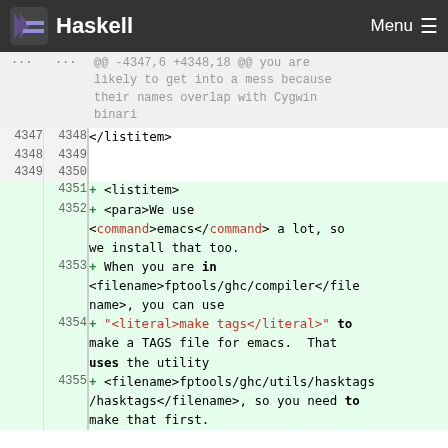Haskell — Menu
@@ -4347,6 +4348,18 @@ you are likely to get into a mess because their names overlap with Cygwin binari
4347 | 4348 | </listitem>
4348 | 4349
4349 | 4350
4351 + <listitem>
4352 + <para>We use <command>emacs</command> a lot, so we install that too.
4353 + When you are in <filename>fptools/ghc/compiler</filename>, you can use
4354 + "<literal>make tags</literal>" to make a TAGS file for emacs. That uses the utility
4355 + <filename>fptools/ghc/utils/hasktags/hasktags</filename>, so you need to make that first.